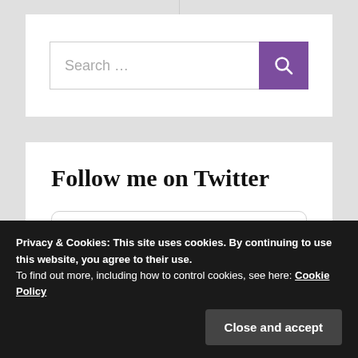[Figure (screenshot): Search bar with text 'Search ...' and a purple search button with magnifying glass icon]
Follow me on Twitter
Tweets from @PennyWilder
Privacy & Cookies: This site uses cookies. By continuing to use this website, you agree to their use.
To find out more, including how to control cookies, see here: Cookie Policy
Close and accept